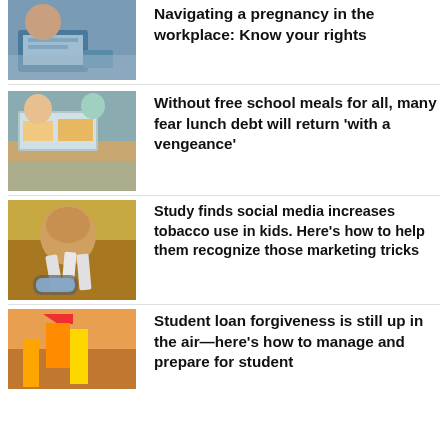[Figure (photo): Person working on laptop, pregnancy/workplace themed image]
Navigating a pregnancy in the workplace: Know your rights
[Figure (photo): Children at a school cafeteria lunch line]
Without free school meals for all, many fear lunch debt will return ‘with a vengeance’
[Figure (photo): Young person in yellow shirt holding cigarettes, looking at phone]
Study finds social media increases tobacco use in kids. Here’s how to help them recognize those marketing tricks
[Figure (photo): Student with graduation cap and pencils, student loan themed]
Student loan forgiveness is still up in the air—here’s how to manage and prepare for student